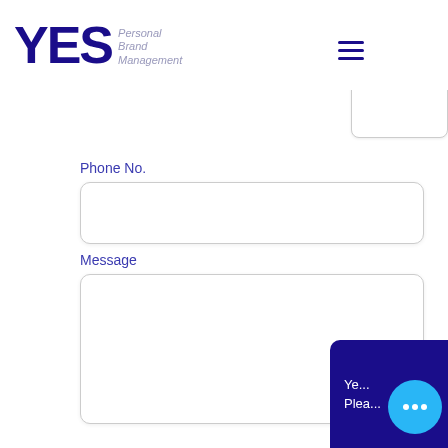[Figure (logo): YES Personal Brand Management logo with bold dark blue YES letters and italic grey subtitle text]
Phone No.
Message
[Figure (screenshot): Dark blue chat widget in bottom right corner with text 'Ye... Plea...' and a cyan circle with three white dots (loading/typing indicator)]